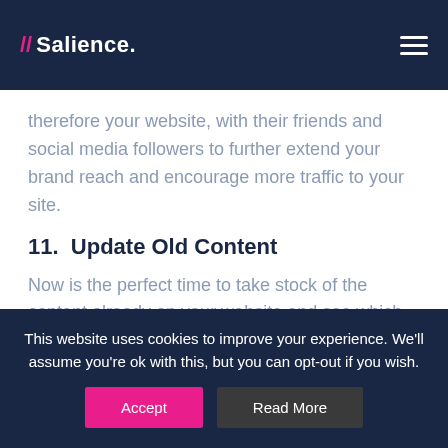Salience.
therefore your website, with their friends and social media followers to further extend your brand reach and encourage more traffic to your site.
11.  Update Old Content
Now is the perfect time to take stock of the content already on your website and see which pieces are working for you
This website uses cookies to improve your experience. We'll assume you're ok with this, but you can opt-out if you wish.